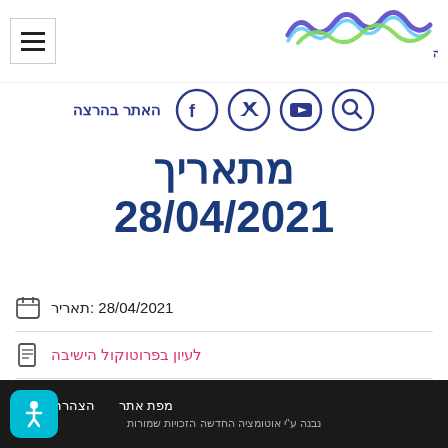[Figure (logo): Knesset or government organization logo with colorful wave/DNA design and Hebrew text הקדיה הראשונה]
[Figure (infographic): Social media icons row: search, YouTube, Twitter, Facebook circles, with Hebrew label האתר בהרצה]
מתאריך 28/04/2021
תאריר: 28/04/2021
לעיון בפרוטוקול הישיבה
להאזנה בקובץ השמע
מפת אתר   הצהרת נגישות   נבנה ע"י אוטומציה החדשה הזכויות שמורות